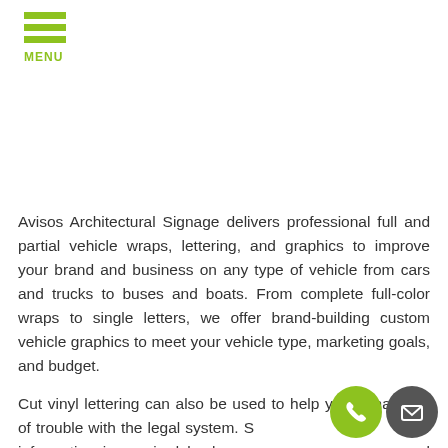MENU
Avisos Architectural Signage delivers professional full and partial vehicle wraps, lettering, and graphics to improve your brand and business on any type of vehicle from cars and trucks to buses and boats. From complete full-color wraps to single letters, we offer brand-building custom vehicle graphics to meet your vehicle type, marketing goals, and budget.
Cut vinyl lettering can also be used to help you remain out of trouble with the legal system. Some corporate information is required by law on commercial vehicles, similar to state licenses or DOT information. We